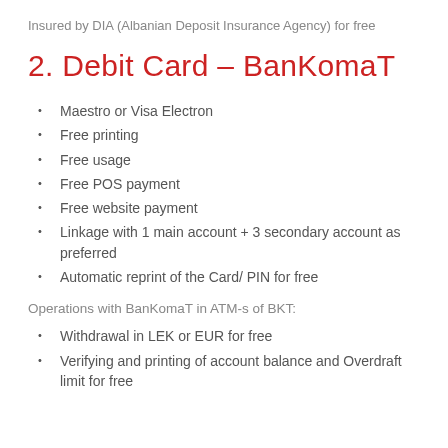Insured by DIA (Albanian Deposit Insurance Agency) for free
2. Debit Card – BanKomaT
Maestro or Visa Electron
Free printing
Free usage
Free POS payment
Free website payment
Linkage with 1 main account + 3 secondary account as preferred
Automatic reprint of the Card/ PIN for free
Operations with BanKomaT in ATM-s of BKT:
Withdrawal in LEK or EUR for free
Verifying and printing of account balance and Overdraft limit for free